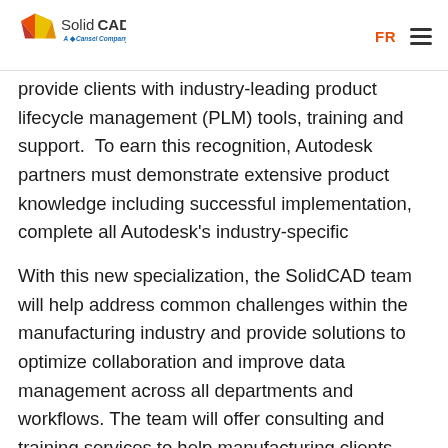[Figure (logo): SolidCAD logo with colorful diamond shape and text 'A Cansel Company' subtitle, with FR link and hamburger menu on the right]
provide clients with industry-leading product lifecycle management (PLM) tools, training and support.  To earn this recognition, Autodesk partners must demonstrate extensive product knowledge including successful implementation, complete all Autodesk's industry-specific certification exams and develop expertise and skills with the Fusion Lifecycle platform.
With this new specialization, the SolidCAD team will help address common challenges within the manufacturing industry and provide solutions to optimize collaboration and improve data management across all departments and workflows. The team will offer consulting and training services to help manufacturing clients automate processes,